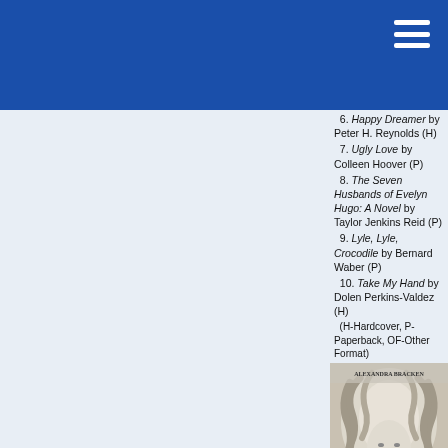6. Happy Dreamer by Peter H. Reynolds (H)
7. Ugly Love by Colleen Hoover (P)
8. The Seven Husbands of Evelyn Hugo: A Novel by Taylor Jenkins Reid (P)
9. Lyle, Lyle, Crocodile by Bernard Waber (P)
10. Take My Hand by Dolen Perkins-Valdez (H)
(H-Hardcover, P-Paperback, OF-Other Format)
[Figure (photo): Book cover of 'Lore' by Alexandra Bracken — white marble-like figure with snake-like hair, gold lettering for title LORE, tagline BIND YOUR FATE TO MINE]
Bestselling New Releases
1. Overkill by Sandra...